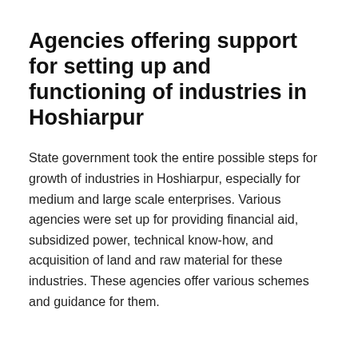Agencies offering support for setting up and functioning of industries in Hoshiarpur
State government took the entire possible steps for growth of industries in Hoshiarpur, especially for medium and large scale enterprises. Various agencies were set up for providing financial aid, subsidized power, technical know-how, and acquisition of land and raw material for these industries. These agencies offer various schemes and guidance for them.